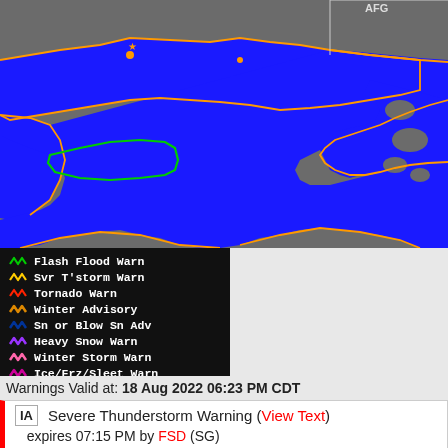[Figure (map): NWS severe weather warning map showing Great Lakes region with orange outlines for Severe Thunderstorm Warnings and a green polygon for a Flash Flood Warning. Blue areas represent water bodies (Great Lakes). Gray areas are land. Orange star/dot markers visible near lake shores.]
[Figure (infographic): Weather warning legend on black background listing: Flash Flood Warn (green squiggle), Svr T'storm Warn (yellow squiggle), Tornado Warn (red squiggle), Winter Advisory (orange squiggle), Sn or Blow Sn Adv (dark blue squiggle), Heavy Snow Warn (purple squiggle), Winter Storm Warn (pink squiggle), Ice/Frz/Sleet Warn (magenta squiggle), Blizzard Warn (dark red squiggle)]
Warnings Valid at: 18 Aug 2022 06:23 PM CDT
| IA | Severe Thunderstorm Warning (View Text) | expires 07:15 PM by FSD (SG) |